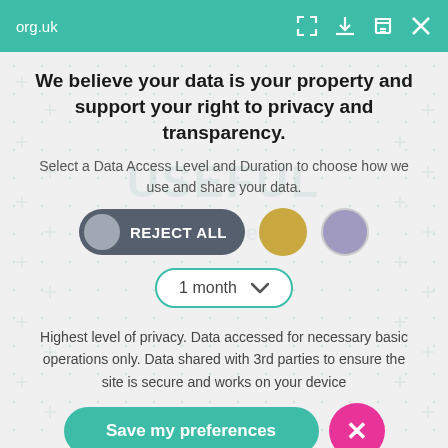org.uk
We believe your data is your property and support your right to privacy and transparency.
Select a Data Access Level and Duration to choose how we use and share your data.
[Figure (infographic): Three consent level buttons: 'REJECT ALL' (dark grey pill with grey circle icon), a gold circle, and a purple circle. Below is a dropdown selector showing '1 month' with a chevron.]
Highest level of privacy. Data accessed for necessary basic operations only. Data shared with 3rd parties to ensure the site is secure and works on your device
[Figure (infographic): A teal 'Save my preferences' button and a pink circular close button with an X.]
Customize
Privacy policy